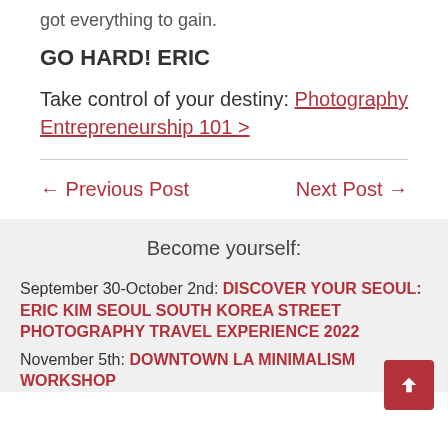got everything to gain.
GO HARD! ERIC
Take control of your destiny: Photography Entrepreneurship 101 >
← Previous Post    Next Post →
Become yourself:
September 30-October 2nd: DISCOVER YOUR SEOUL: ERIC KIM SEOUL SOUTH KOREA STREET PHOTOGRAPHY TRAVEL EXPERIENCE 2022
November 5th: DOWNTOWN LA MINIMALISM WORKSHOP